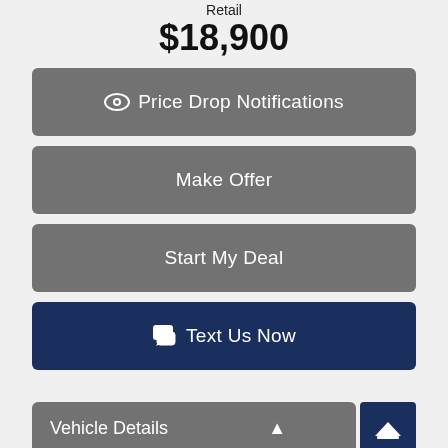Retail
$18,900
Price Drop Notifications
Make Offer
Start My Deal
Text Us Now
Vehicle Details
Text Us